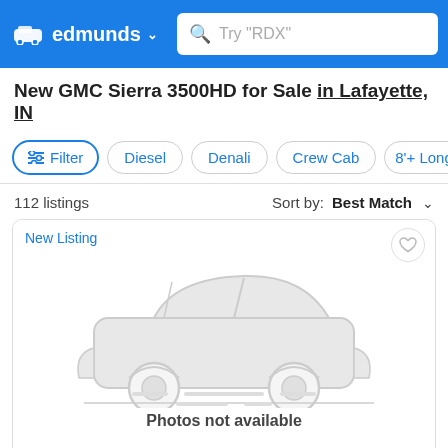edmunds — Search bar: Try "RDX"
New GMC Sierra 3500HD for Sale in Lafayette, IN
Filter | Diesel | Denali | Crew Cab | 8'+ Longb>
112 listings   Sort by: Best Match
[Figure (illustration): Car placeholder illustration with 'Photos not available' text and 'New Listing' tag]
2023 GMC Sierra 3500HD